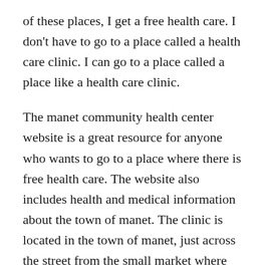of these places, I get a free health care. I don't have to go to a place called a health care clinic. I can go to a place called a place like a health care clinic.
The manet community health center website is a great resource for anyone who wants to go to a place where there is free health care. The website also includes health and medical information about the town of manet. The clinic is located in the town of manet, just across the street from the small market where there are several restaurants and other shops. It also offers a variety of services that are usually provided with a visit to a hospital, like blood tests and x-rays.